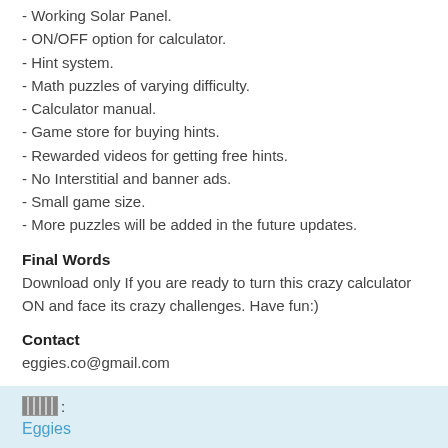- Working Solar Panel.
- ON/OFF option for calculator.
- Hint system.
- Math puzzles of varying difficulty.
- Calculator manual.
- Game store for buying hints.
- Rewarded videos for getting free hints.
- No Interstitial and banner ads.
- Small game size.
- More puzzles will be added in the future updates.
Final Words
Download only If you are ready to turn this crazy calculator ON and face its crazy challenges. Have fun:)
Contact
eggies.co@gmail.com
Eggies